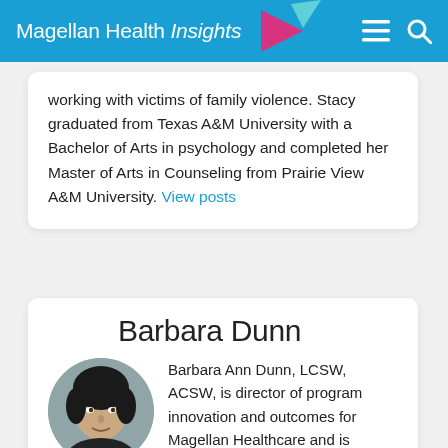Magellan Health Insights
working with victims of family violence. Stacy graduated from Texas A&M University with a Bachelor of Arts in psychology and completed her Master of Arts in Counseling from Prairie View A&M University. View posts
Barbara Dunn
[Figure (photo): Headshot portrait of Barbara Dunn, a woman with short dark hair]
Barbara Ann Dunn, LCSW, ACSW, is director of program innovation and outcomes for Magellan Healthcare and is responsible for proposing, implementing and evaluating innovative programs across behavioral health. Barbara's work includes creating data collection systems using evidence-